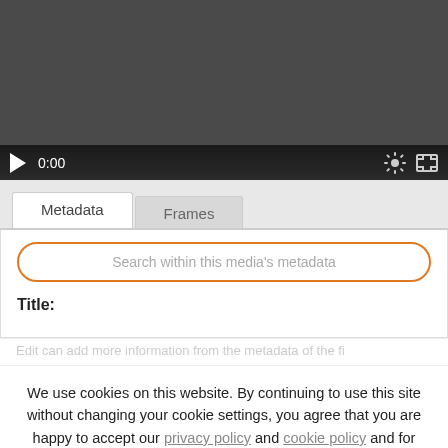[Figure (screenshot): Video player with dark background, play button, time display showing 0:00, gear icon and fullscreen icon in controls bar]
Metadata	Frames
Search within this media's metadata
Title:
We use cookies on this website. By continuing to use this site without changing your cookie settings, you agree that you are happy to accept our privacy policy and cookie policy and for us to access our cookies on your device.
Accept
Date:
21st December 2007